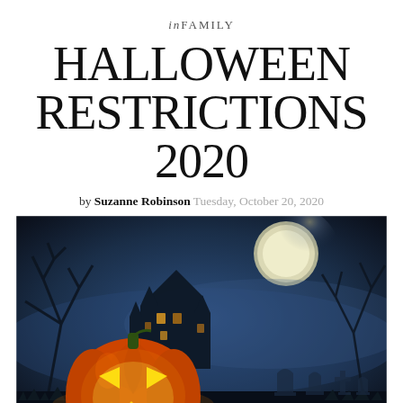inFAMILY
HALLOWEEN RESTRICTIONS 2020
by Suzanne Robinson Tuesday, October 20, 2020
[Figure (photo): Halloween scene with a glowing jack-o-lantern in the foreground, a spooky haunted house in the background, a full moon in a dark blue misty sky, bare trees, and silhouetted gravestones in a cemetery.]